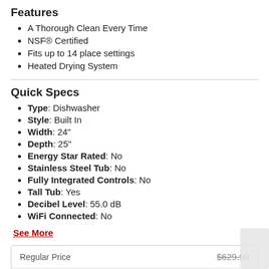Features
A Thorough Clean Every Time
NSF® Certified
Fits up to 14 place settings
Heated Drying System
Quick Specs
Type: Dishwasher
Style: Built In
Width: 24"
Depth: 25"
Energy Star Rated: No
Stainless Steel Tub: No
Fully Integrated Controls: No
Tall Tub: Yes
Decibel Level: 55.0 dB
WiFi Connected: No
See More
|  |  |
| --- | --- |
| Regular Price | $629.99 |
| See price in cart ? | $449.99 |